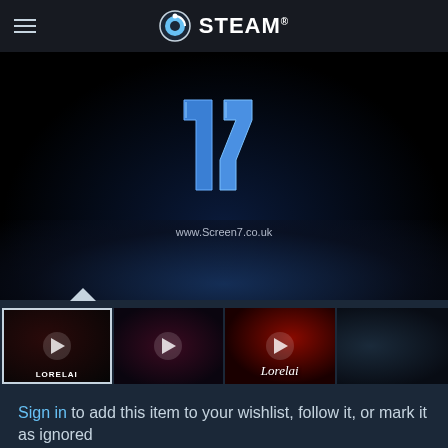STEAM
[Figure (screenshot): Main video preview area showing Screen7 logo (blue stylized '7' numeral) and www.Screen7.co.uk URL on a dark background with water reflection effect]
[Figure (screenshot): Thumbnail strip with 4 video thumbnails for Lorelai game: first selected (dark horror image with LORELAI label), second (dark purple/red horror), third (red tinted horror with Lorelai label), fourth (dark room screenshot)]
Sign in to add this item to your wishlist, follow it, or mark it as ignored